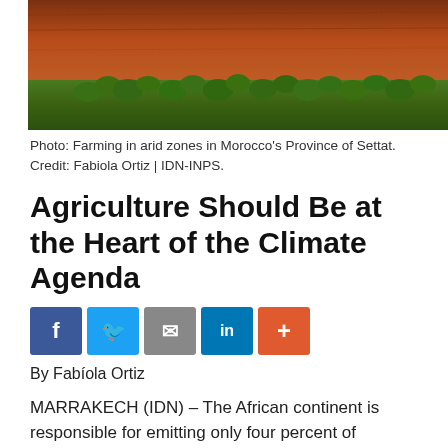[Figure (photo): Photo of farming in arid zones in Morocco's Province of Settat — red-brown soil with green cacti/plants in the foreground]
Photo: Farming in arid zones in Morocco's Province of Settat.
Credit: Fabiola Ortiz | IDN-INPS.
Agriculture Should Be at the Heart of the Climate Agenda
[Figure (other): Social sharing buttons: Facebook, Twitter, Email, LinkedIn, More (+)]
By Fabíola Ortiz
MARRAKECH (IDN) – The African continent is responsible for emitting only four percent of greenhouse gas emissions, yet six of the ten countries most threatened by the climate change effects of such emissions are in Africa.
With the continent currently receiving just five percent of